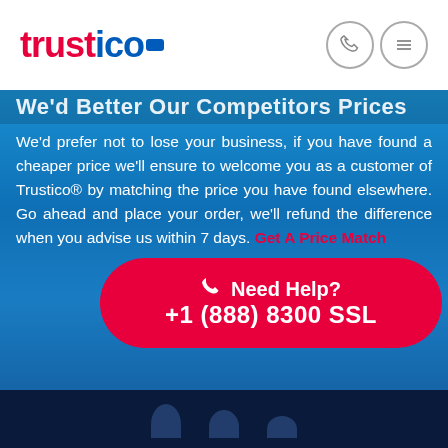[Figure (logo): Trustico logo in red and blue with a blue rectangle icon]
[Figure (illustration): Phone and hamburger menu circle icon buttons in the header]
We'd Better Our Competitors Prices
We'd prefer not to lose your business, if you have found a cheaper price we'll ensure to welcome you as a customer of Trustico® by matching the price you have found elsewhere. Go ahead and place your order, we'll refund the difference when you advise us within 7 days. Get A Price Match
[Figure (other): Red rounded rectangle CTA button with phone icon, 'Need Help?' and '+1 (888) 8300 SSL']